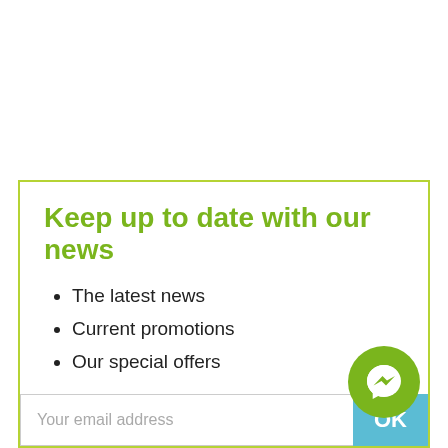Keep up to date with our news
The latest news
Current promotions
Our special offers
Subscribe to our newsletter:
[Figure (other): Email subscription input box with placeholder 'Your email address' and a teal OK button, plus a green circular Messenger chat icon in the lower right corner]